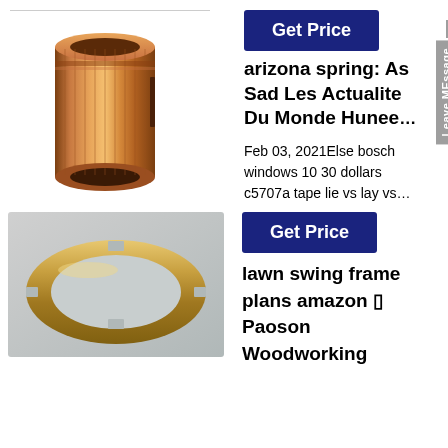[Figure (photo): Copper cylindrical bushing/sleeve component on white background]
Get Price
arizona spring: As Sad Les Actualite Du Monde Hunee
Feb 03, 2021Else bosch windows 10 30 dollars c5707a tape lie vs lay vs…
Get Price
[Figure (photo): Bronze/brass ring or flange component on light background]
lawn swing frame plans amazon ▯ Paoson Woodworking